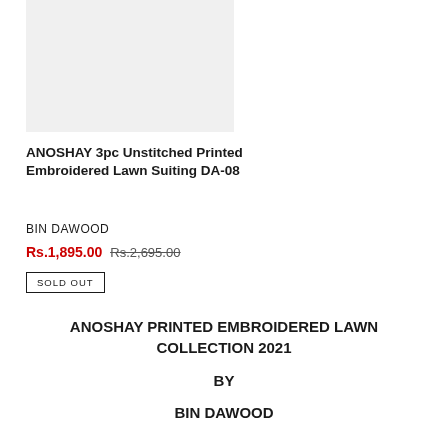[Figure (photo): Product image placeholder - light gray background, no visible garment shown]
ANOSHAY 3pc Unstitched Printed Embroidered Lawn Suiting DA-08
BIN DAWOOD
Rs.1,895.00  Rs.2,695.00
SOLD OUT
ANOSHAY PRINTED EMBROIDERED LAWN COLLECTION 2021
BY
BIN DAWOOD